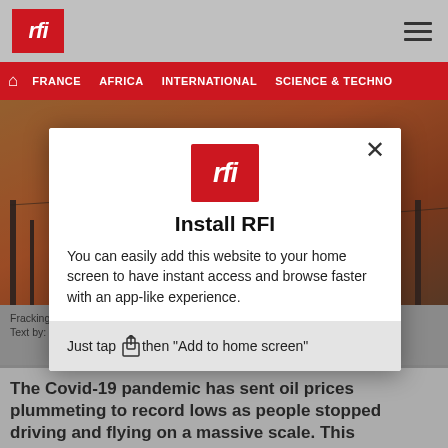RFI
FRANCE   AFRICA   INTERNATIONAL   SCIENCE & TECHNO
[Figure (screenshot): Background photo of industrial/oil field silhouette against orange sunset sky]
Fracking to ... onterey Shale form ... ed with carbon dio ... NORTH AMERICA/... Text by: Ja...
The Covid-19 pandemic has sent oil prices plummeting to record lows as people stopped driving and flying on a massive scale. This
[Figure (screenshot): RFI app install modal dialog showing RFI logo, Install RFI title, description text about adding to home screen, and tap instruction with share icon]
Install RFI
You can easily add this website to your home screen to have instant access and browse faster with an app-like experience.
Just tap then "Add to home screen"